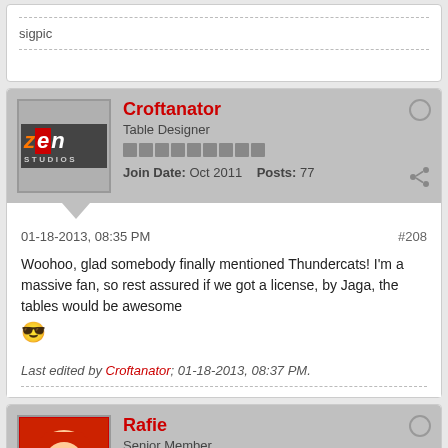sigpic
Croftanator
Table Designer
Join Date: Oct 2011   Posts: 77
01-18-2013, 08:35 PM
#208
Woohoo, glad somebody finally mentioned Thundercats! I'm a massive fan, so rest assured if we got a license, by Jaga, the tables would be awesome
Last edited by Croftanator; 01-18-2013, 08:37 PM.
Rafie
Senior Member
Join Date: May 2012   Posts: 1010